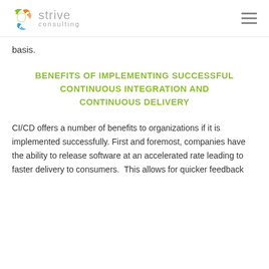strive consulting
basis.
BENEFITS OF IMPLEMENTING SUCCESSFUL CONTINUOUS INTEGRATION AND CONTINUOUS DELIVERY
CI/CD offers a number of benefits to organizations if it is implemented successfully. First and foremost, companies have the ability to release software at an accelerated rate leading to faster delivery to consumers. This allows for quicker feedback